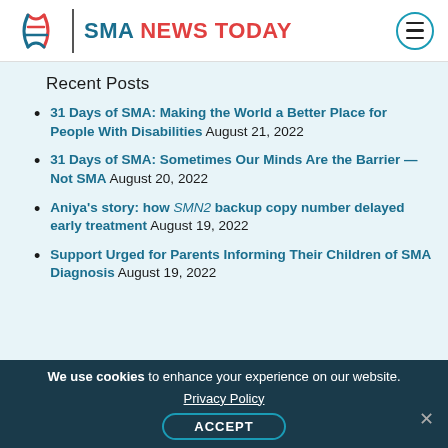SMA NEWS TODAY
Recent Posts
31 Days of SMA: Making the World a Better Place for People With Disabilities August 21, 2022
31 Days of SMA: Sometimes Our Minds Are the Barrier — Not SMA August 20, 2022
Aniya's story: how SMN2 backup copy number delayed early treatment August 19, 2022
Support Urged for Parents Informing Their Children of SMA Diagnosis August 19, 2022
We use cookies to enhance your experience on our website. Privacy Policy ACCEPT